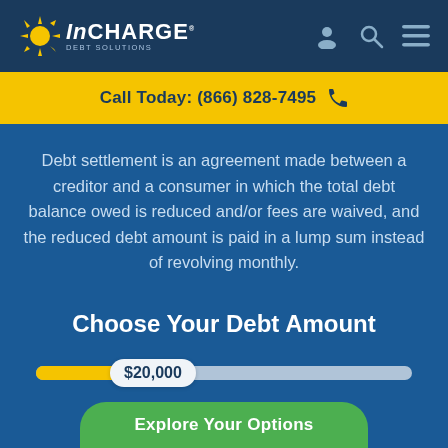InCharge Debt Solutions — Navigation bar with logo, user icon, search icon, menu icon
Call Today: (866) 828-7495
Debt settlement is an agreement made between a creditor and a consumer in which the total debt balance owed is reduced and/or fees are waived, and the reduced debt amount is paid in a lump sum instead of revolving monthly.
Choose Your Debt Amount
$20,000
Explore Your Options